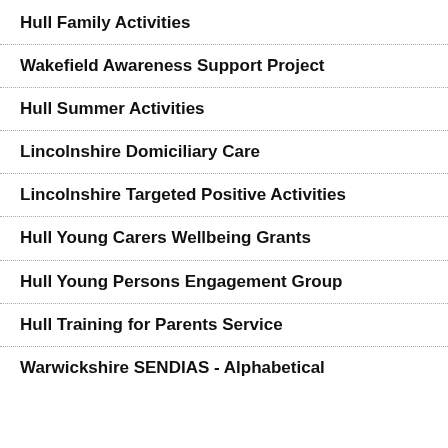Hull Family Activities
Wakefield Awareness Support Project
Hull Summer Activities
Lincolnshire Domiciliary Care
Lincolnshire Targeted Positive Activities
Hull Young Carers Wellbeing Grants
Hull Young Persons Engagement Group
Hull Training for Parents Service
Warwickshire SENDIAS - Alphabetical